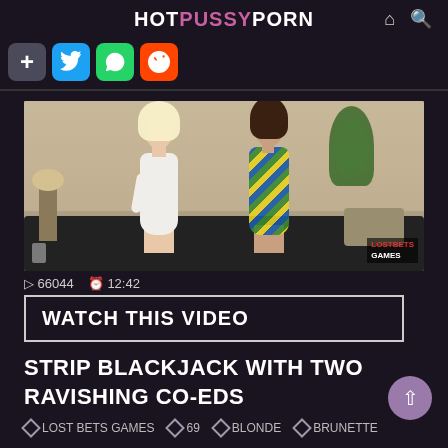HOTPUSSYPORN
[Figure (screenshot): Video thumbnail showing two women in a living room. One blonde woman in white dress, one brunette in floral dress. Watermark reads LOSTBETS GAMES in bottom right.]
▷ 66044  ⏱ 12:42
WATCH THIS VIDEO
STRIP BLACKJACK WITH TWO RAVISHING CO-EDS
◇ LOST BETS GAMES  ◇ 69  ◇ BLONDE  ◇ BRUNETTE